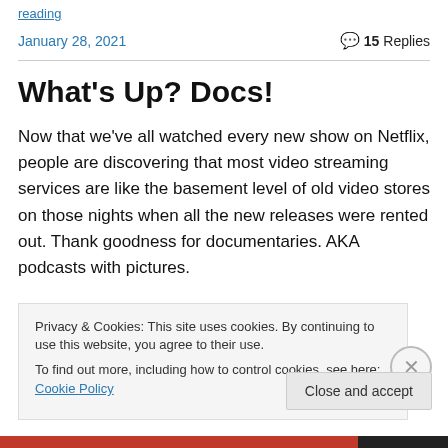reading
January 28, 2021
💬 15 Replies
What's Up? Docs!
Now that we've all watched every new show on Netflix, people are discovering that most video streaming services are like the basement level of old video stores on those nights when all the new releases were rented out. Thank goodness for documentaries. AKA podcasts with pictures.
Privacy & Cookies: This site uses cookies. By continuing to use this website, you agree to their use.
To find out more, including how to control cookies, see here: Cookie Policy
Close and accept